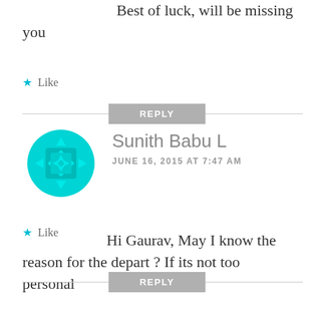Best of luck, will be missing you
Like
REPLY
[Figure (illustration): Cyan/turquoise circular avatar icon with geometric pattern (WordPress-style identicon)]
Sunith Babu L
JUNE 16, 2015 AT 7:47 AM
Hi Gaurav, May I know the reason for the depart ? If its not too personal
Like
REPLY